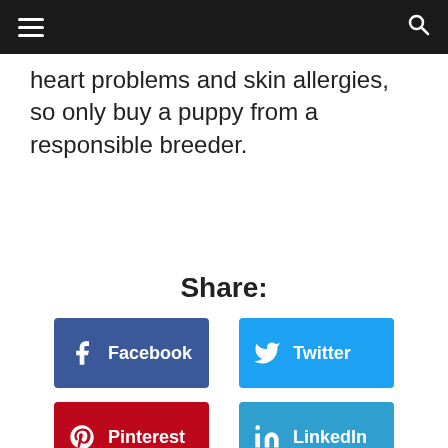...ned, so select a healthy diet. Hereditary conditions include hip dysplasia, elbow dysplasia, heart problems and skin allergies, so only buy a puppy from a responsible breeder.
heart problems and skin allergies, so only buy a puppy from a responsible breeder.
Share:
[Figure (other): Share buttons row 1: Facebook (dark blue), Twitter (light blue)]
[Figure (other): Share buttons row 2: Pinterest (red), LinkedIn (teal blue)]